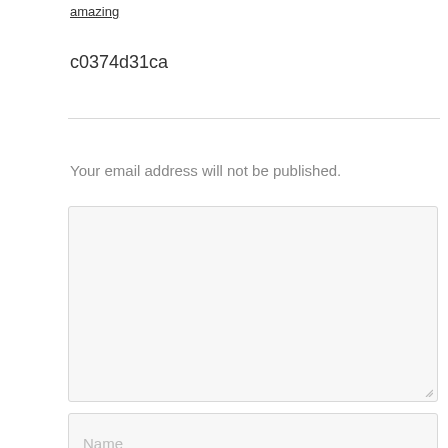amazing
c0374d31ca
Your email address will not be published.
[Figure (other): Large empty comment textarea input field with light grey background and resize handle]
[Figure (other): Name text input field with placeholder text 'Name' in light grey]